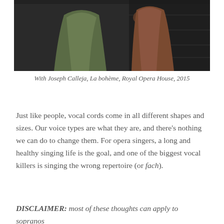[Figure (photo): Opera stage photo showing two performers in period costumes — one in a green/olive draped gown and another in brown/rust tones — on a dark stage set with stairs.]
With Joseph Calleja, La bohème, Royal Opera House, 2015
Just like people, vocal cords come in all different shapes and sizes. Our voice types are what they are, and there's nothing we can do to change them. For opera singers, a long and healthy singing life is the goal, and one of the biggest vocal killers is singing the wrong repertoire (or fach).
DISCLAIMER: most of these thoughts can apply to sopranos